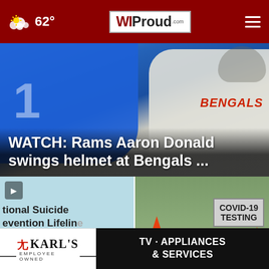62° WIProud.com
[Figure (photo): Football players — blue jersey (Giants) vs white jersey (Bengals) — action photo from NFL game]
WATCH: Rams Aaron Donald swings helmet at Bengals ...
[Figure (screenshot): National Suicide Prevention Lifeline sign with text about 24/7 free and confidential support]
[Figure (photo): COVID-19 TESTING sign with orange traffic cones in background]
[Figure (advertisement): Karl's Employee Owned — TV · Appliances & Services advertisement]
Newsroom
Milwaukee